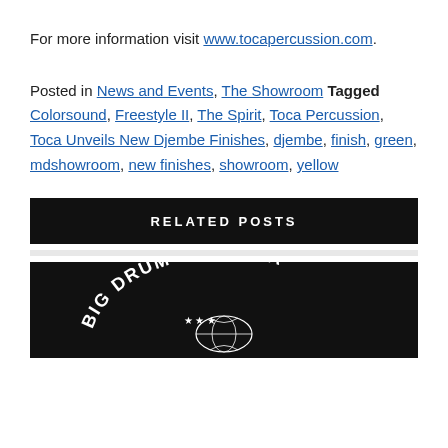For more information visit www.tocapercussion.com.
Posted in News and Events, The Showroom Tagged Colorsound, Freestyle II, The Spirit, Toca Percussion, Toca Unveils New Djembe Finishes, djembe, finish, green, mdshowroom, new finishes, showroom, yellow
RELATED POSTS
[Figure (photo): Big Drum Bonanza logo on black background showing text arc and stars]